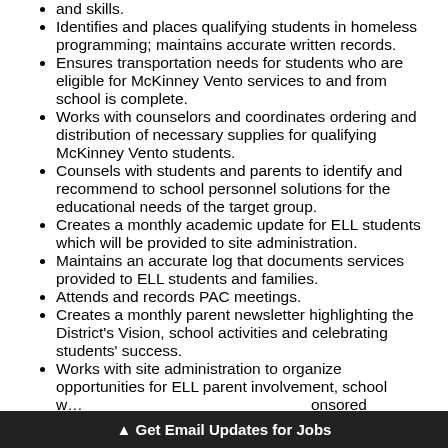and skills.
Identifies and places qualifying students in homeless programming; maintains accurate written records.
Ensures transportation needs for students who are eligible for McKinney Vento services to and from school is complete.
Works with counselors and coordinates ordering and distribution of necessary supplies for qualifying McKinney Vento students.
Counsels with students and parents to identify and recommend to school personnel solutions for the educational needs of the target group.
Creates a monthly academic update for ELL students which will be provided to site administration.
Maintains an accurate log that documents services provided to ELL students and families.
Attends and records PAC meetings.
Creates a monthly parent newsletter highlighting the District's Vision, school activities and celebrating students' success.
Works with site administration to organize opportunities for ELL parent involvement, school w... onsored
▲ Get Email Updates for Jobs